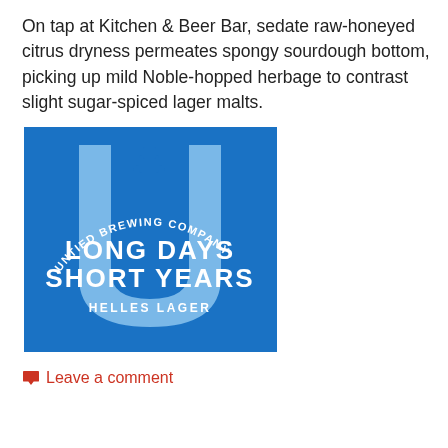On tap at Kitchen & Beer Bar, sedate raw-honeyed citrus dryness permeates spongy sourdough bottom, picking up mild Noble-hopped herbage to contrast slight sugar-spiced lager malts.
[Figure (logo): Untied Brewing Company logo: blue square background with a large light-blue letter U shape (bottle silhouette inside). Text reads 'UNTIED BREWING COMPANY' curved along the top, 'LONG DAYS SHORT YEARS' in large white bold text, 'HELLES LAGER' below in smaller white text.]
Leave a comment